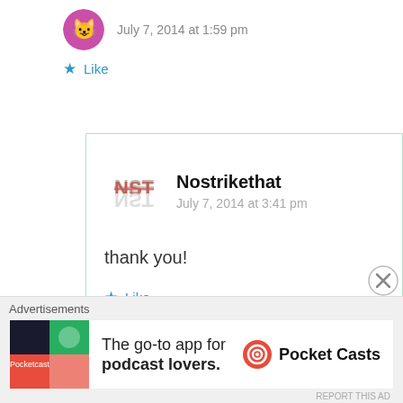July 7, 2014 at 1:59 pm
haha love it
Like
Nostrikethat
July 7, 2014 at 3:41 pm
thank you!
Like
Advertisements
The go-to app for podcast lovers.
Pocket Casts